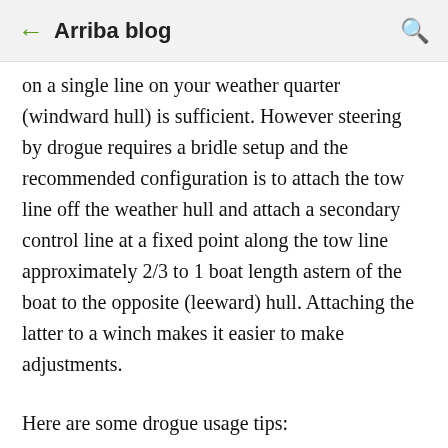← Arriba blog 🔍
on a single line on your weather quarter (windward hull) is sufficient. However steering by drogue requires a bridle setup and the recommended configuration is to attach the tow line off the weather hull and attach a secondary control line at a fixed point along the tow line approximately 2/3 to 1 boat length astern of the boat to the opposite (leeward) hull. Attaching the latter to a winch makes it easier to make adjustments.
Here are some drogue usage tips: